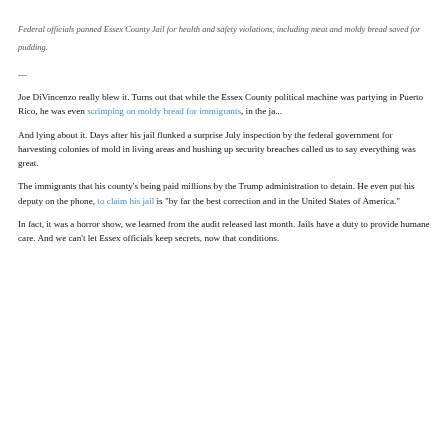Federal officials panned Essex County Jail for health and safety violations, including meat and moldy bread saved for pudding.
---
Joe DiVincenzo really blew it. Turns out that while the Essex County political machine was partying in Puerto Rico, he was even scrimping on moldy bread for immigrants, in the ja...
And lying about it. Days after his jail flunked a surprise July inspection by the federal government for harvesting colonies of mold in living areas and hushing up security breaches called us to say everything was great.
The immigrants that his county's being paid millions by the Trump administration to detain. He even put his deputy on the phone, to claim his jail is "by far the best correction and in the United States of America."
In fact, it was a horror show, we learned from the audit released last month. Jails have a duty to provide humane care. And we can't let Essex officials keep secrets, now that conditions.